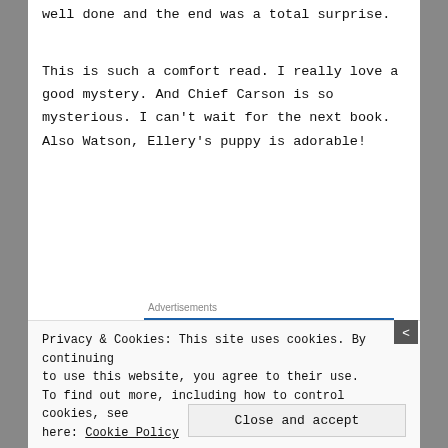well done and the end was a total surprise.
This is such a comfort read. I really love a good mystery. And Chief Carson is so mysterious. I can't wait for the next book. Also Watson, Ellery's puppy is adorable!
[Figure (screenshot): WordPress.com advertisement banner with blue background, WordPress logo on left and pink 'Build Your Website' button on right. Labeled 'Advertisements' above.]
*ARC provided by the publisher via Netgalley
Privacy & Cookies: This site uses cookies. By continuing to use this website, you agree to their use. To find out more, including how to control cookies, see here: Cookie Policy
Close and accept